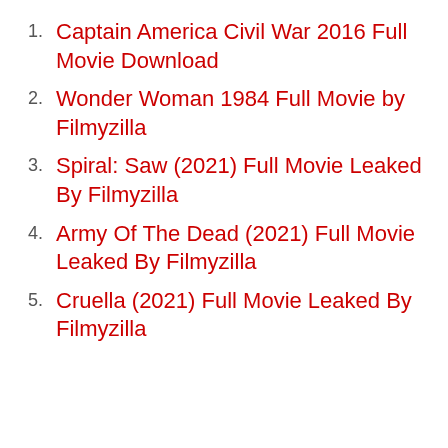1. Captain America Civil War 2016 Full Movie Download
2. Wonder Woman 1984 Full Movie by Filmyzilla
3. Spiral: Saw (2021) Full Movie Leaked By Filmyzilla
4. Army Of The Dead (2021) Full Movie Leaked By Filmyzilla
5. Cruella (2021) Full Movie Leaked By Filmyzilla
[Figure (logo): APNIC logo in bold black text with ad text: Thank you for helping us measure the Internet.]
Thank you for helping us measure the Internet.